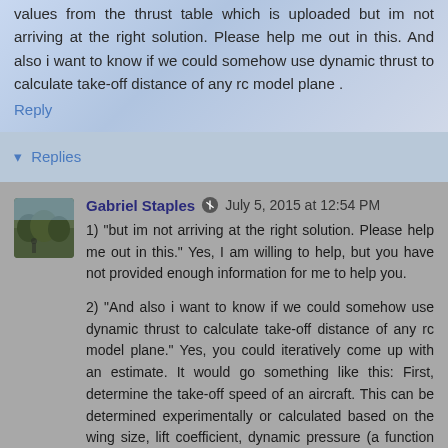values from the thrust table which is uploaded but im not arriving at the right solution. Please help me out in this. And also i want to know if we could somehow use dynamic thrust to calculate take-off distance of any rc model plane .
Reply
▾ Replies
Gabriel Staples  July 5, 2015 at 12:54 PM
1) "but im not arriving at the right solution. Please help me out in this." Yes, I am willing to help, but you have not provided enough information for me to help you.
2) "And also i want to know if we could somehow use dynamic thrust to calculate take-off distance of any rc model plane." Yes, you could iteratively come up with an estimate. It would go something like this: First, determine the take-off speed of an aircraft. This can be determined experimentally or calculated based on the wing size, lift coefficient, dynamic pressure (a function of air